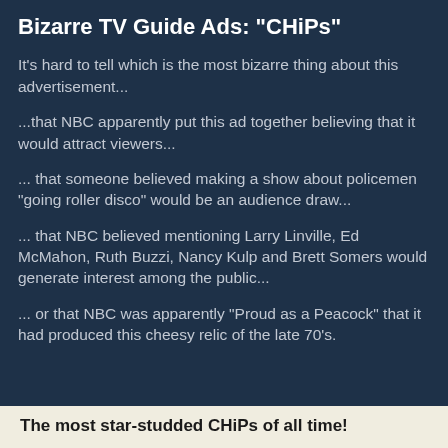Bizarre TV Guide Ads: "CHiPs"
It's hard to tell which is the most bizarre thing about this advertisement...
...that NBC apparently put this ad together believing that it would attract viewers...
... that someone believed making a show about policemen "going roller disco" would be an audience draw...
... that NBC believed mentioning Larry Linville, Ed McMahon, Ruth Buzzi, Nancy Kulp and Brett Somers would generate interest among the public...
... or that NBC was apparently "Proud as a Peacock" that it had produced this cheesy relic of the late 70's.
The most star-studded CHiPs of all time!